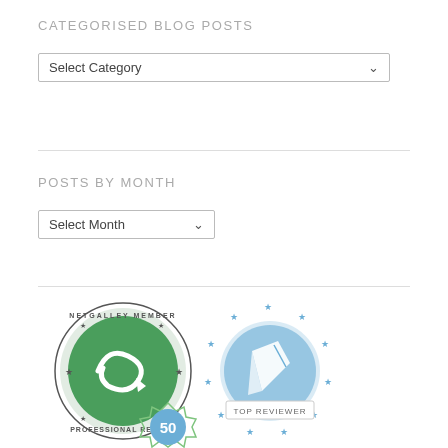CATEGORISED BLOG POSTS
[Figure (screenshot): Select Category dropdown box with border and dropdown arrow]
POSTS BY MONTH
[Figure (screenshot): Select Month dropdown box with border and dropdown arrow]
[Figure (logo): Two circular badge logos: NetGalley Member Professional Reader (green) and Top Reviewer (blue with stars), and a partially visible 50 badge at the bottom]